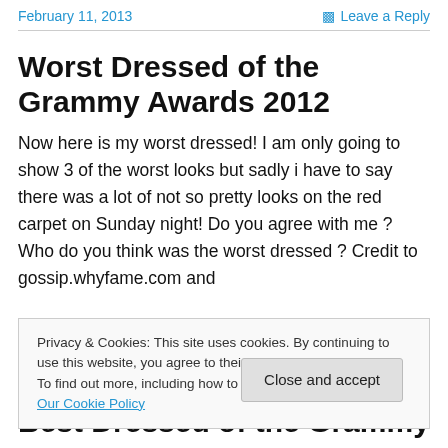February 11, 2013   Leave a Reply
Worst Dressed of the Grammy Awards 2012
Now here is my worst dressed! I am only going to show 3 of the worst looks but sadly i have to say there was a lot of not so pretty looks on the red carpet on Sunday night! Do you agree with me ? Who do you think was the worst dressed ? Credit to gossip.whyfame.com and
Privacy & Cookies: This site uses cookies. By continuing to use this website, you agree to their use.
To find out more, including how to control cookies, see here: Our Cookie Policy
Close and accept
Best Dressed of the Grammy